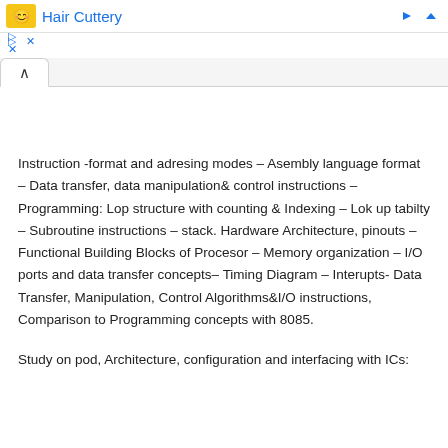[Figure (screenshot): Advertisement banner for 'Hair Cuttery' with yellow smiley icon, blue title text, navigation arrow, and close/play controls]
[Figure (screenshot): Browser tab bar with an active tab showing a caret/up-arrow symbol]
Instruction -format and adresing modes – Asembly language format – Data transfer, data manipulation& control instructions – Programming: Lop structure with counting & Indexing – Lok up tabilty – Subroutine instructions – stack. Hardware Architecture, pinouts – Functional Building Blocks of Procesor – Memory organization – I/O ports and data transfer concepts– Timing Diagram – Interupts- Data Transfer, Manipulation, Control Algorithms&I/O instructions, Comparison to Programming concepts with 8085.
Study on pod, Architecture, configuration and interfacing with ICs: